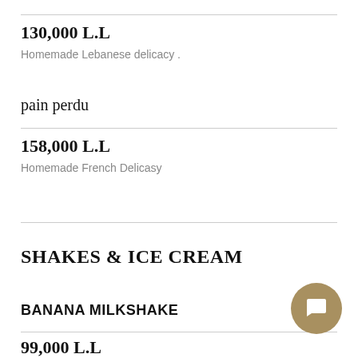130,000 L.L
Homemade Lebanese delicacy .
pain perdu
158,000 L.L
Homemade French Delicasy
SHAKES & ICE CREAM
BANANA MILKSHAKE
99,000 L.L